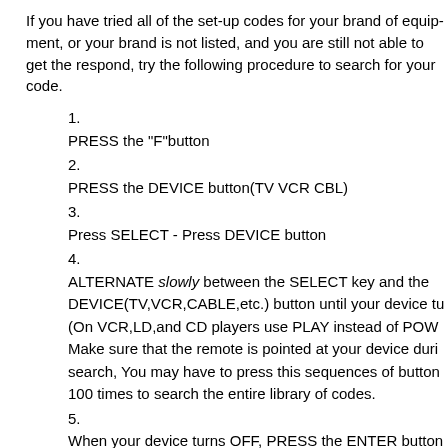If you have tried all of the set-up codes for your brand of equipment, or your brand is not listed, and you are still not able to get the respond, try the following procedure to search for your code.
1. PRESS the "F"button
2. PRESS the DEVICE button(TV VCR CBL)
3. Press SELECT - Press DEVICE button
4. ALTERNATE slowly between the SELECT key and the DEVICE(TV,VCR,CABLE,etc.) button until your device tu (On VCR,LD,and CD players use PLAY instead of POW Make sure that the remote is pointed at your device duri search, You may have to press this sequences of button 100 times to search the entire library of codes.
5. When your device turns OFF, PRESS the ENTER button
menu
Blinking Back the Code:
1. PRESS "F"
2. PRESS 1
3. PRESS 1, carefully COUNT the number of blinks. (1st di
4. PRESS 2, carefully COUNT the number of blinks. (2nd c
5. PRESS 3, carefully COUNT the number of blinks. (3rd d